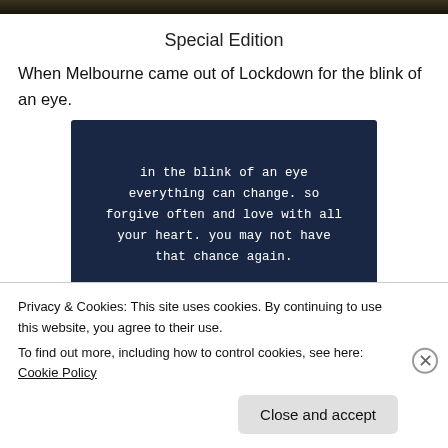[Figure (photo): Cropped top edge of an image, dark tones, appears to be nature or portrait photo strip]
Special Edition
When Melbourne came out of Lockdown for the blink of an eye.
[Figure (illustration): Dark navy blue background with white handwritten-style text reading: in the blink of an eye everything can change. so forgive often and love with all your heart. you may not have that chance again.]
Privacy & Cookies: This site uses cookies. By continuing to use this website, you agree to their use.
To find out more, including how to control cookies, see here: Cookie Policy